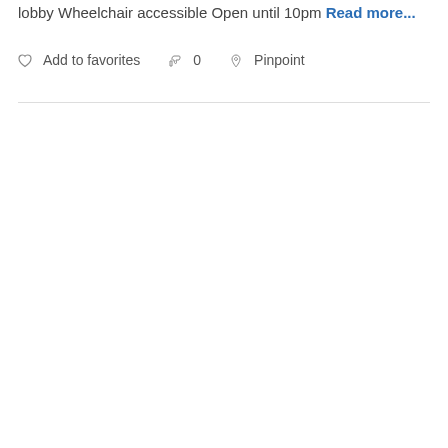lobby Wheelchair accessible Open until 10pm Read more...
Add to favorites  0  Pinpoint